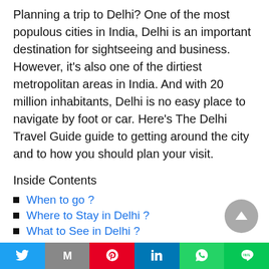Planning a trip to Delhi? One of the most populous cities in India, Delhi is an important destination for sightseeing and business. However, it's also one of the dirtiest metropolitan areas in India. And with 20 million inhabitants, Delhi is no easy place to navigate by foot or car. Here's The Delhi Travel Guide guide to getting around the city and to how you should plan your visit.
Inside Contents
When to go ?
Where to Stay in Delhi ?
What to See in Delhi ?